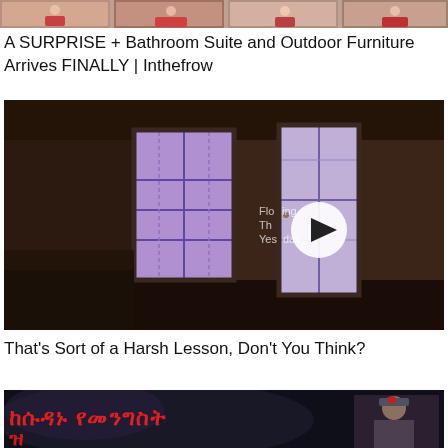[Figure (screenshot): Top thumbnail strip showing colorful video preview images]
A SURPRISE + Bathroom Suite and Outdoor Furniture Arrives FINALLY | Inthefrow
[Figure (screenshot): Video thumbnail of a dark room with two windows with blinds and a play button overlay. Text overlay reads 'Flooring The Yesterday']
That's Sort of a Harsh Lesson, Don't You Think?
[Figure (screenshot): Video thumbnail with Ethiopic/Amharic red text on dark smoky background with a military figure on the right]